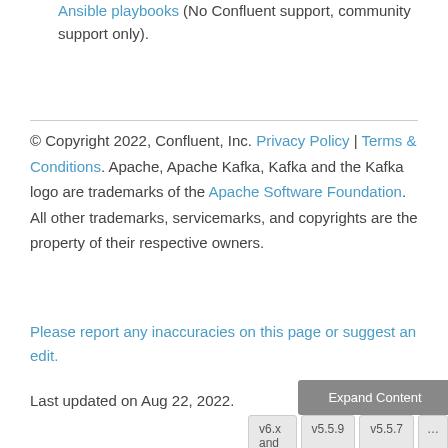Ansible playbooks (No Confluent support, community support only).
© Copyright 2022, Confluent, Inc. Privacy Policy | Terms & Conditions. Apache, Apache Kafka, Kafka and the Kafka logo are trademarks of the Apache Software Foundation. All other trademarks, servicemarks, and copyrights are the property of their respective owners.
Please report any inaccuracies on this page or suggest an edit.
Last updated on Aug 22, 2022.